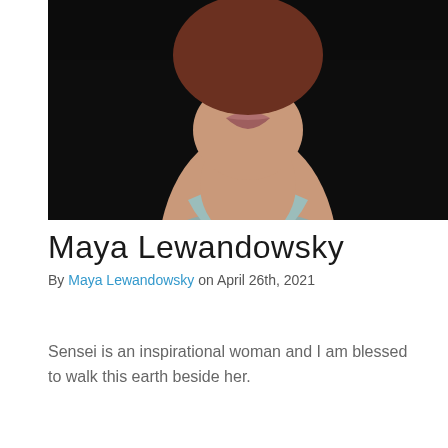[Figure (photo): Close-up portrait photo of a woman (Maya Lewandowsky) showing her lower face, neck, and upper body. She is wearing a light grey/blue collared jacket. The background is dark/black.]
Maya Lewandowsky
By Maya Lewandowsky on April 26th, 2021
Sensei is an inspirational woman and I am blessed to walk this earth beside her.